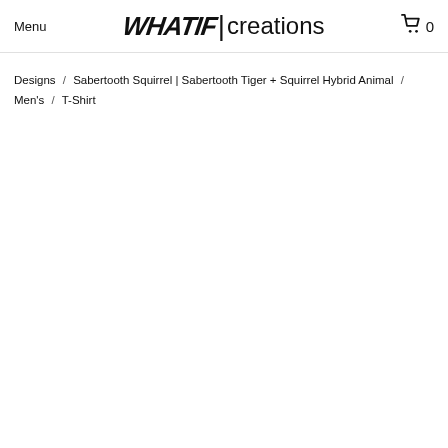Menu | WHATIF|creations 0
Designs / Sabertooth Squirrel | Sabertooth Tiger + Squirrel Hybrid Animal / Men's / T-Shirt